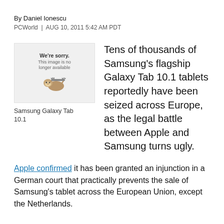By Daniel Ionescu
PCWorld | AUG 10, 2011 5:42 AM PDT
[Figure (photo): Placeholder image showing a sloth with text 'We're sorry. This image is no longer available']
Samsung Galaxy Tab 10.1
Tens of thousands of Samsung's flagship Galaxy Tab 10.1 tablets reportedly have been seized across Europe, as the legal battle between Apple and Samsung turns ugly.
Apple confirmed it has been granted an injunction in a German court that practically prevents the sale of Samsung's tablet across the European Union, except the Netherlands.